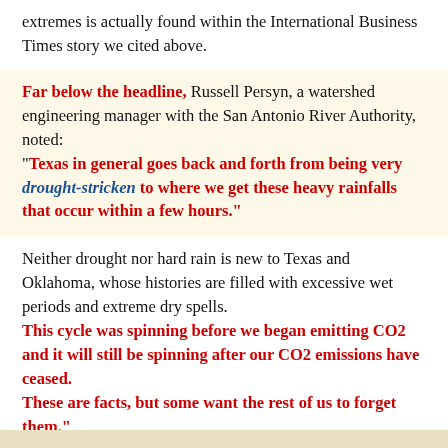extremes is actually found within the International Business Times story we cited above.
Far below the headline, Russell Persyn, a watershed engineering manager with the San Antonio River Authority, noted: "Texas in general goes back and forth from being very drought-stricken to where we get these heavy rainfalls that occur within a few hours."
Neither drought nor hard rain is new to Texas and Oklahoma, whose histories are filled with excessive wet periods and extreme dry spells. This cycle was spinning before we began emitting CO2 and it will still be spinning after our CO2 emissions have ceased. These are facts, but some want the rest of us to forget them."